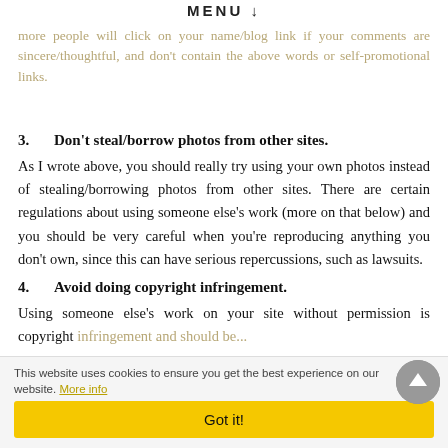MENU ↓
more people will click on your name/blog link if your comments are sincere/thoughtful, and don't contain the above words or self-promotional links.
3.   Don't steal/borrow photos from other sites.
As I wrote above, you should really try using your own photos instead of stealing/borrowing photos from other sites. There are certain regulations about using someone else's work (more on that below) and you should be very careful when you're reproducing anything you don't own, since this can have serious repercussions, such as lawsuits.
4.   Avoid doing copyright infringement.
Using someone else's work on your site without permission is copyright infringement and should be...
This website uses cookies to ensure you get the best experience on our website. More info
Got it!